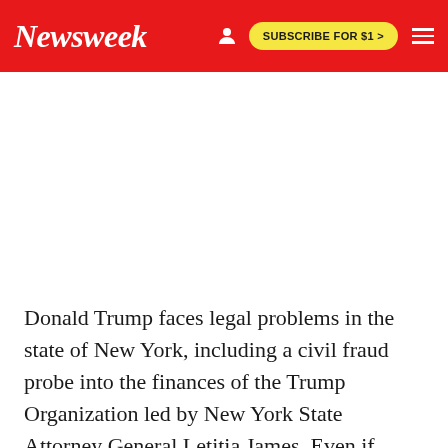Newsweek | SUBSCRIBE FOR $1 >
Donald Trump faces legal problems in the state of New York, including a civil fraud probe into the finances of the Trump Organization led by New York State Attorney General Letitia James. Even if Donald Trump issues a federal